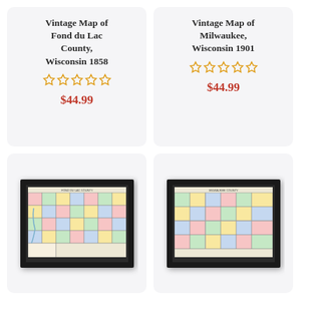Vintage Map of Fond du Lac County, Wisconsin 1858
☆☆☆☆☆
$44.99
Vintage Map of Milwaukee, Wisconsin 1901
☆☆☆☆☆
$44.99
[Figure (map): Vintage county map of Fond du Lac County Wisconsin 1858 displayed in a black frame, showing a grid of colored townships]
[Figure (map): Vintage county map of Milwaukee Wisconsin 1901 displayed in a black frame, showing a grid of colored townships]